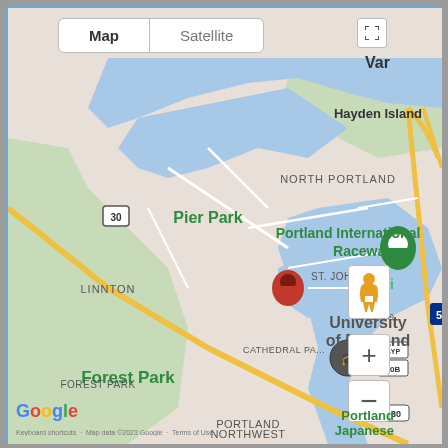[Figure (map): Google Maps screenshot showing Portland, Oregon area including North Portland, Forest Park, Northwest Portland, Cathedral Park, University of Portland, Portland International Raceway, Hayden Island, Willamette River, Pier Park, Linnton, and St. Johns neighborhoods. A red location pin marks Cathedral Park area. A green marker shows Portland International Raceway. Map/Satellite toggle at top, zoom controls and street view icon at right, Google logo at bottom left.]